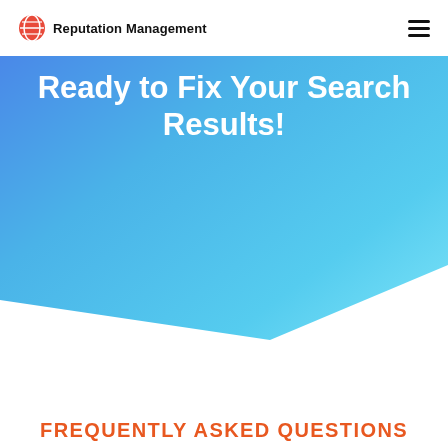Reputation Management
Ready to Fix Your Search Results!
FREQUENTLY ASKED QUESTIONS